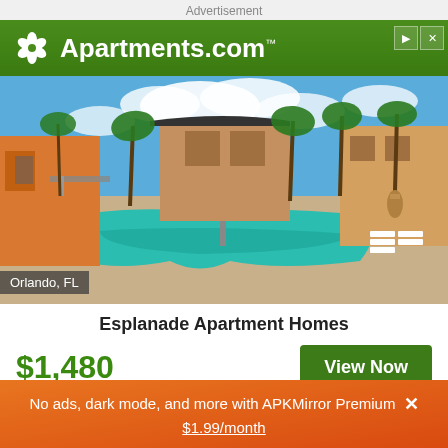Advertisement
[Figure (logo): Apartments.com logo with white pinwheel/flower icon on green background header]
[Figure (photo): Outdoor swimming pool at Esplanade Apartment Homes in Orlando, FL. Pool surrounded by palm trees, lounge chairs, and apartment buildings under a blue sky.]
Orlando, FL
Esplanade Apartment Homes
$1,480
View Now
No ads, dark mode, and more with APKMirror Premium ✕ $1.99/month